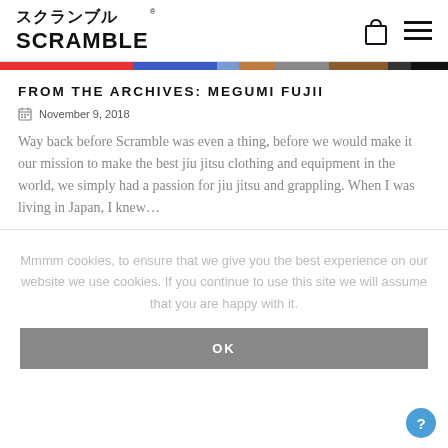[Figure (logo): Scramble brand logo with Japanese katakana characters above and SCRAMBLE in bold block letters below, with registered trademark symbol]
[Figure (other): Shopping bag icon and hamburger menu icon in top right of header]
[Figure (other): Colorful horizontal bar divider with red, blue, brown/tan, dark segments]
FROM THE ARCHIVES: MEGUMI FUJII
November 9, 2018
Way back before Scramble was even a thing, before we would make it our mission to make the best jiu jitsu clothing and equipment in the world, we simply had a passion for jiu jitsu and grappling. When I was living in Japan, I knew…
Mmmm cookies, to ensure that we give you the best experience on our website we use cookies. If you continue to use this site we will assume that you are happy with it.
OK